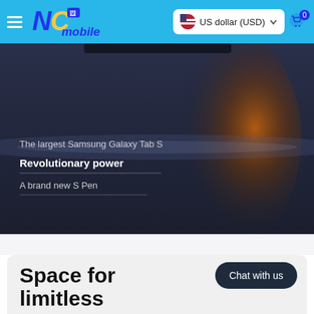NC mobile — US dollar (USD)
[Figure (screenshot): Samsung Galaxy Tab S promotional hero banner with dark space-themed background and orange glow. Text overlay reads: 'The largest Samsung Galaxy Tab S', 'Revolutionary power', 'A brand new S Pen']
The largest Samsung Galaxy Tab S
Revolutionary power
A brand new S Pen
Chat with us
Space for limitless